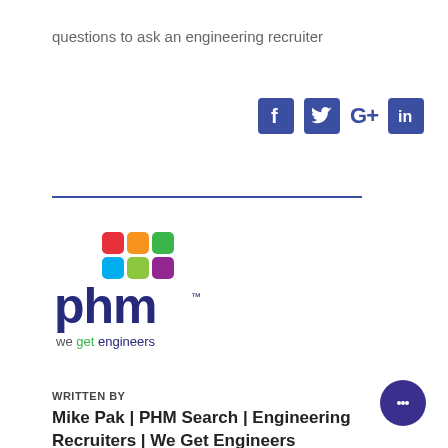questions to ask an engineering recruiter
[Figure (logo): Social media icons: Facebook (f), Twitter (bird), Google+ (G+), LinkedIn (in) — all in dark blue/indigo]
[Figure (logo): PHM logo with colorful speech bubble squares above 'phm' text and tagline 'we get engineers']
WRITTEN BY
Mike Pak | PHM Search | Engineering Recruiters | We Get Engineers